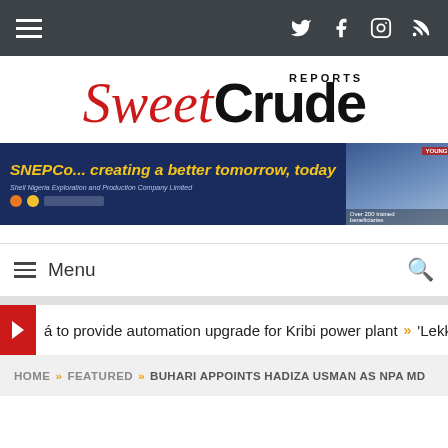SweetCrude Reports — top navigation bar with hamburger menu and social icons
[Figure (logo): SweetCrude Reports logo — 'Sweet' in red italic serif, 'Crude' in black bold sans-serif, 'REPORTS' in small caps above]
[Figure (infographic): SNEPCo advertisement banner: 'SNEPCo... creating a better tomorrow, today' in yellow italic text on dark blue background, with Shell Nigeria Exploration and Production Company Limited text, Shell logos, and a photo of school children in uniform on the right]
Menu
á to provide automation upgrade for Kribi power plant   »   'Lekki po
HOME » FEATURED » BUHARI APPOINTS HADIZA USMAN AS NPA MD